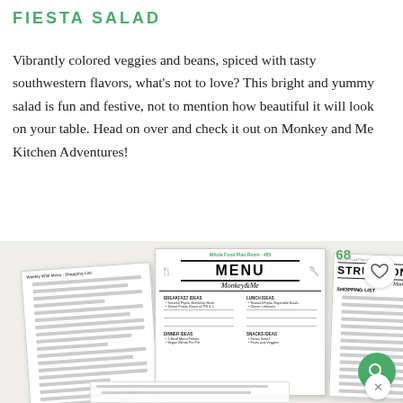FIESTA SALAD
Vibrantly colored veggies and beans, spiced with tasty southwestern flavors, what's not to love?  This bright and yummy salad is fun and festive, not to mention how beautiful it will look on your table. Head on over and check it out on Monkey and Me Kitchen Adventures!
[Figure (photo): Three overlapping document/menu pages from Monkey and Me Kitchen Adventures, showing a weekly menu page (center), a shopping/notes list (left), and instructions/shopping list (right). Overlay UI elements: number badge '68', heart icon button, search icon button (green circle), and close button (X).]